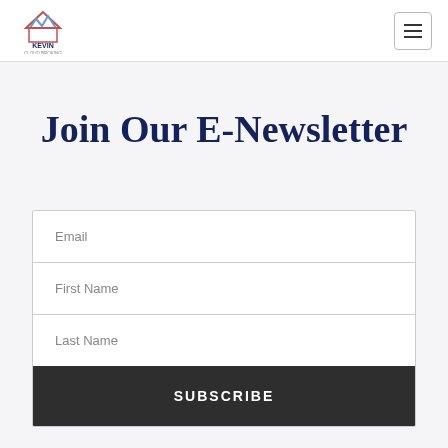Kevin [logo]
Join Our E-Newsletter
Email
First Name
Last Name
SUBSCRIBE